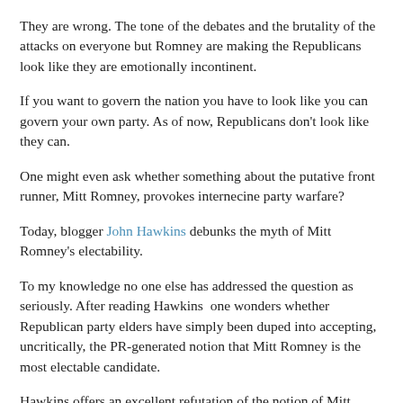They are wrong. The tone of the debates and the brutality of the attacks on everyone but Romney are making the Republicans look like they are emotionally incontinent.
If you want to govern the nation you have to look like you can govern your own party. As of now, Republicans don't look like they can.
One might even ask whether something about the putative front runner, Mitt Romney, provokes internecine party warfare?
Today, blogger John Hawkins debunks the myth of Mitt Romney's electability.
To my knowledge no one else has addressed the question as seriously. After reading Hawkins  one wonders whether Republican party elders have simply been duped into accepting, uncritically, the PR-generated notion that Mitt Romney is the most electable candidate.
Hawkins offers an excellent refutation of the notion of Mitt